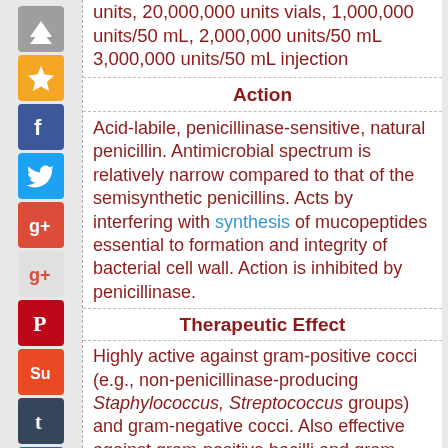units, 20,000,000 units vials, 1,000,000 units/50 mL, 2,000,000 units/50 mL 3,000,000 units/50 mL injection
Action
Acid-labile, penicillinase-sensitive, natural penicillin. Antimicrobial spectrum is relatively narrow compared to that of the semisynthetic penicillins. Acts by interfering with synthesis of mucopeptides essential to formation and integrity of bacterial cell wall. Action is inhibited by penicillinase.
Therapeutic Effect
Highly active against gram-positive cocci (e.g., non-penicillinase-producing Staphylococcus, Streptococcus groups) and gram-negative cocci. Also effective against gram-positive bacilli and gram-negative bacilli. Penicillin G is effective against some strains of Salmonella and Shigella and spirochetes.